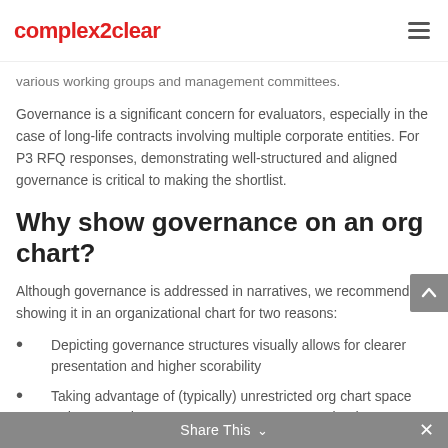complex2clear
various working groups and management committees.
Governance is a significant concern for evaluators, especially in the case of long-life contracts involving multiple corporate entities. For P3 RFQ responses, demonstrating well-structured and aligned governance is critical to making the shortlist.
Why show governance on an org chart?
Although governance is addressed in narratives, we recommend showing it in an organizational chart for two reasons:
Depicting governance structures visually allows for clearer presentation and higher scorability
Taking advantage of (typically) unrestricted org chart space reduces word count pressure on page-constrained